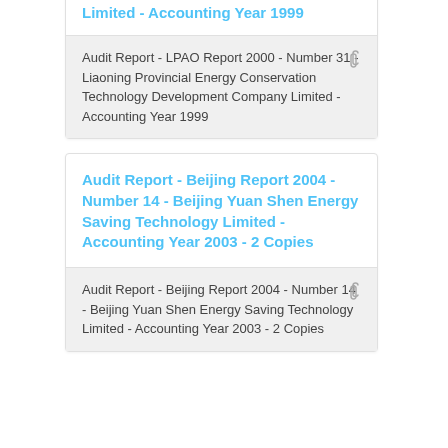Limited - Accounting Year 1999
Audit Report - LPAO Report 2000 - Number 31 - Liaoning Provincial Energy Conservation Technology Development Company Limited - Accounting Year 1999
Audit Report - Beijing Report 2004 - Number 14 - Beijing Yuan Shen Energy Saving Technology Limited - Accounting Year 2003 - 2 Copies
Audit Report - Beijing Report 2004 - Number 14 - Beijing Yuan Shen Energy Saving Technology Limited - Accounting Year 2003 - 2 Copies